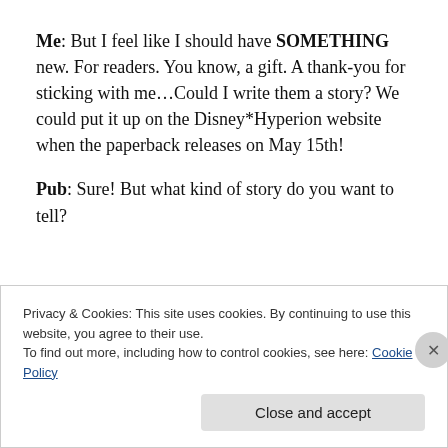Me: But I feel like I should have SOMETHING new. For readers. You know, a gift. A thank-you for sticking with me…Could I write them a story? We could put it up on the Disney*Hyperion website when the paperback releases on May 15th!
Pub: Sure! But what kind of story do you want to tell?
Privacy & Cookies: This site uses cookies. By continuing to use this website, you agree to their use.
To find out more, including how to control cookies, see here: Cookie Policy